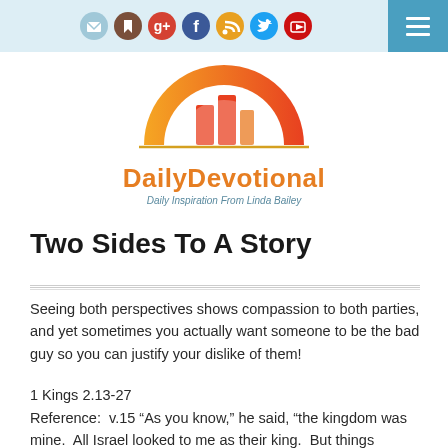[Figure (screenshot): Navigation bar with social media icons (email, bookmark, Google+, Facebook, RSS, Twitter, YouTube) and a blue hamburger menu button on the right]
[Figure (logo): DailyDevotional logo with orange and red arch graphic above the text 'DailyDevotional' in blue bold font and tagline 'Daily Inspiration From Linda Bailey' in italic]
Two Sides To A Story
Seeing both perspectives shows compassion to both parties, and yet sometimes you actually want someone to be the bad guy so you can justify your dislike of them!
1 Kings 2.13-27
Reference:  v.15 “As you know,” he said, “the kingdom was mine.  All Israel looked to me as their king.  But things